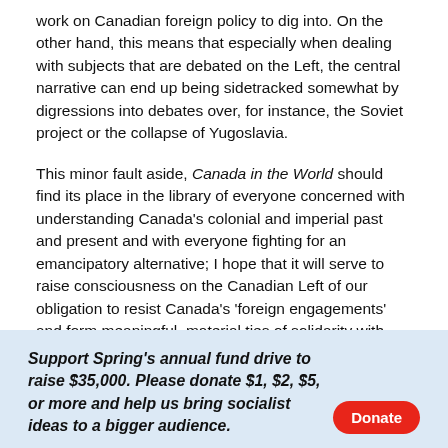work on Canadian foreign policy to dig into. On the other hand, this means that especially when dealing with subjects that are debated on the Left, the central narrative can end up being sidetracked somewhat by digressions into debates over, for instance, the Soviet project or the collapse of Yugoslavia.
This minor fault aside, Canada in the World should find its place in the library of everyone concerned with understanding Canada's colonial and imperial past and present and with everyone fighting for an emancipatory alternative; I hope that it will serve to raise consciousness on the Canadian Left of our obligation to resist Canada's 'foreign engagements' and form meaningful, material ties of solidarity with those on their receiving end.
Support Spring's annual fund drive to raise $35,000. Please donate $1, $2, $5, or more and help us bring socialist ideas to a bigger audience. Donate